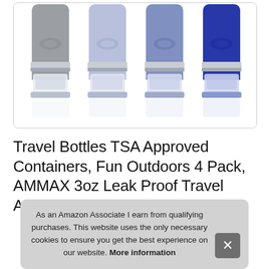[Figure (photo): Four squeeze travel bottles arranged side by side. Colors from left to right: gray, light blue/lavender, medium blue, dark navy blue. Each bottle has a clear/silver screw cap at the bottom and a colored silicone body. Bottles are photographed on a white background with reflections visible at the bottom.]
Travel Bottles TSA Approved Containers, Fun Outdoors 4 Pack, AMMAX 3oz Leak Proof Travel Ac... Am... Bu...
As an Amazon Associate I earn from qualifying purchases. This website uses the only necessary cookies to ensure you get the best experience on our website. More information